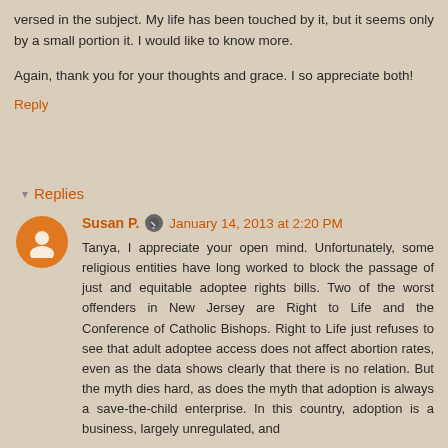versed in the subject. My life has been touched by it, but it seems only by a small portion it. I would like to know more.
Again, thank you for your thoughts and grace. I so appreciate both!
Reply
Replies
Susan P. January 14, 2013 at 2:20 PM
Tanya, I appreciate your open mind. Unfortunately, some religious entities have long worked to block the passage of just and equitable adoptee rights bills. Two of the worst offenders in New Jersey are Right to Life and the Conference of Catholic Bishops. Right to Life just refuses to see that adult adoptee access does not affect abortion rates, even as the data shows clearly that there is no relation. But the myth dies hard, as does the myth that adoption is always a save-the-child enterprise. In this country, adoption is a business, largely unregulated, and